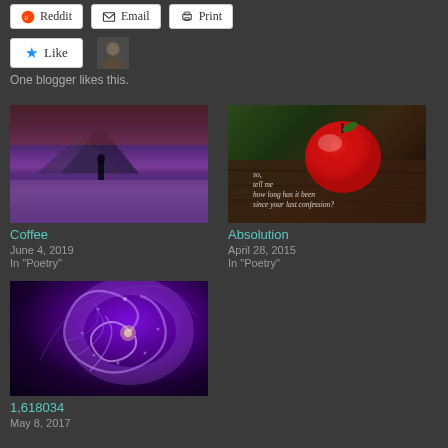[Figure (other): Social sharing buttons: Reddit, Email, Print]
[Figure (other): Like button with star icon and user avatar; text: One blogger likes this.]
One blogger likes this.
[Figure (photo): Landscape photo of a person standing in a lavender field with a mountain at dusk]
Coffee
June 4, 2019
In "Poetry"
[Figure (photo): Photo of a red apple on a wooden surface with text overlay: so, tell me how long has it been since your last confession?]
Absolution
April 28, 2015
In "Poetry"
[Figure (photo): Purple fractal spiral swirling image with glowing light effects]
1,618034
May 8, 2017